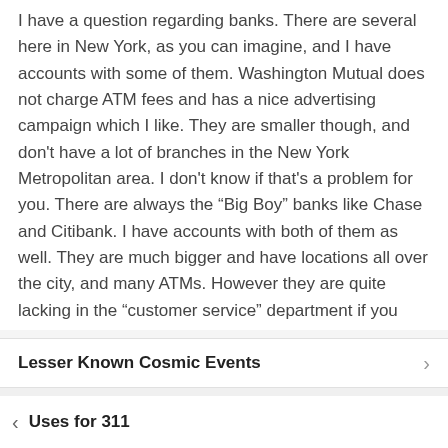I have a question regarding banks. There are several here in New York, as you can imagine, and I have accounts with some of them. Washington Mutual does not charge ATM fees and has a nice advertising campaign which I like. They are smaller though, and don't have a lot of branches in the New York Metropolitan area. I don't know if that's a problem for you. There are always the “Big Boy” banks like Chase and Citibank. I have accounts with both of them as well. They are much bigger and have locations all over the city, and many ATMs. However they are quite lacking in the “customer service” department if you know what I mean. I sometimes think they are too big for their britches. I also like Commerce Bank because they let you bring your jars full of coins and will give you paper currency, without charging you. I won a free t-shirt there once. Come to think of it, Chase will probably want to
Lesser Known Cosmic Events
Uses for 311